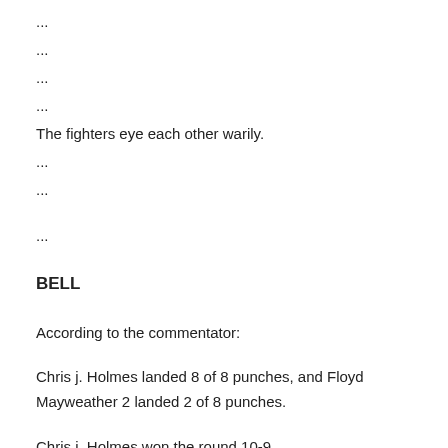...
...
...
...
The fighters eye each other warily.
...
...
...
BELL
According to the commentator:
Chris j. Holmes landed 8 of 8 punches, and Floyd Mayweather 2 landed 2 of 8 punches.
Chris j. Holmes won the round 10-9